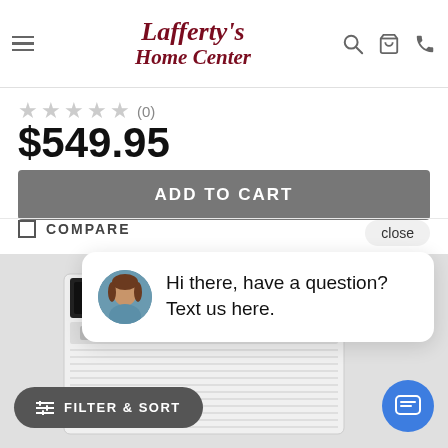[Figure (logo): Lafferty's Home Center logo in dark red italic serif font]
★★★★★ (0)
$549.95
ADD TO CART
COMPARE
close
Hi there, have a question? Text us here.
[Figure (photo): Window air conditioning unit, white, bottom portion of product page]
FILTER & SORT